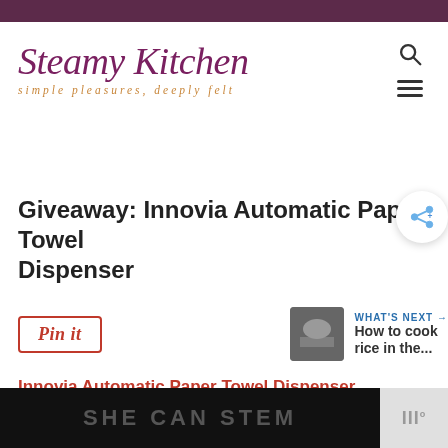[Figure (logo): Steamy Kitchen logo with script text 'Steamy Kitchen' in purple/magenta and italic tagline 'simple pleasures, deeply felt' in gold/orange below]
Giveaway: Innovia Automatic Paper Towel Dispenser
[Figure (other): Pin it button with red border]
[Figure (other): What's Next panel with rice image and text 'How to cook rice in the...']
Innovia Automatic Paper Towel Dispenser
[Figure (other): Bottom advertisement banner with dark background and text 'SHE CAN STEM']